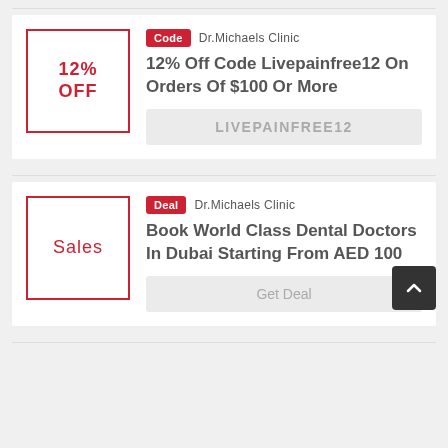[Figure (other): Coupon card with 12% OFF label in red-bordered box, Code badge, Dr.Michaels Clinic merchant, title '12% Off Code Livepainfree12 On Orders Of $100 Or More', and LIVEPAINFREE12 code box]
[Figure (other): Deal card with Sales label in red-bordered box, Deal badge, Dr.Michaels Clinic merchant, title 'Book World Class Dental Doctors In Dubai Starting From AED 100', and Get Deal button]